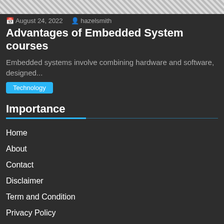[Figure (photo): Checkered/placeholder image strip at top of page]
August 24, 2022   hazelsmith
Advantages of Embedded System courses
Embedded systems involve combining hardware and software, designed...
Technology
Importance
Home
About
Contact
Disclaimer
Term and Condition
Privacy Policy
Copyright © All rights reserved